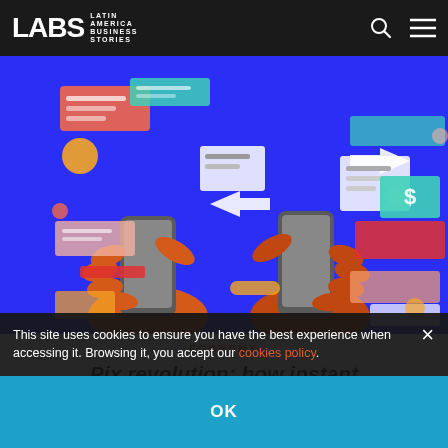LABS – Latin America Business Stories
[Figure (illustration): Colorful illustration of two hands holding smartphones with various UI elements, arrows, and digital payment icons floating around them on a blue background]
ECONOMY
Pix revolution: how instant payment put Brazil at the
This site uses cookies to ensure you have the best experience when accessing it. Browsing it, you accept our cookies policy.
OK